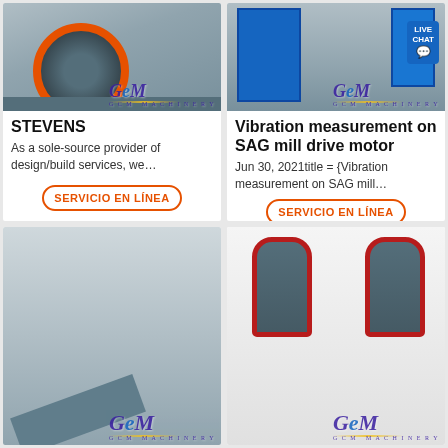[Figure (photo): Jaw crusher machine with orange circular element, gray body, GCM Machinery watermark]
STEVENS
As a sole-source provider of design/build services, we…
SERVICIO EN LÍNEA
[Figure (photo): Blue industrial SAG mill drive motor equipment, GCM Machinery watermark, LIVE CHAT badge]
Vibration measurement on SAG mill drive motor
Jun 30, 2021title = {Vibration measurement on SAG mill…
SERVICIO EN LÍNEA
[Figure (photo): Outdoor quarry conveyor belt machinery on hillside, GCM Machinery watermark]
[Figure (photo): Two vertical cylindrical mill machines with red bands, GCM Machinery watermark]